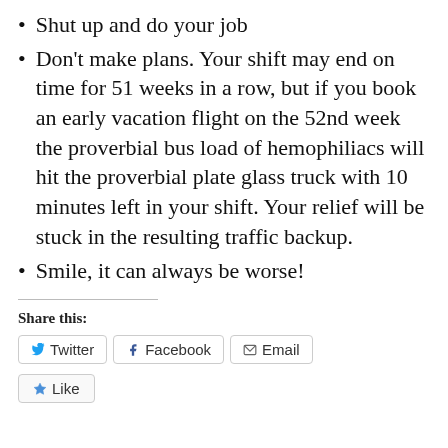Shut up and do your job
Don't make plans. Your shift may end on time for 51 weeks in a row, but if you book an early vacation flight on the 52nd week the proverbial bus load of hemophiliacs will hit the proverbial plate glass truck with 10 minutes left in your shift. Your relief will be stuck in the resulting traffic backup.
Smile, it can always be worse!
Share this:
Twitter  Facebook  Email
Like